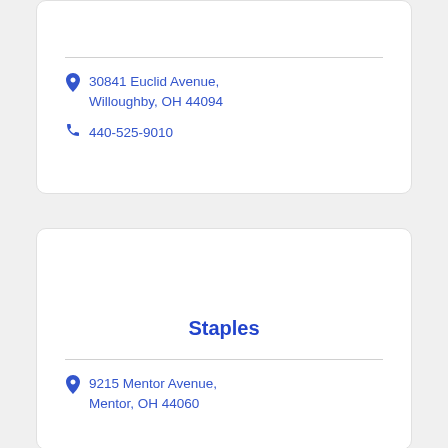30841 Euclid Avenue, Willoughby, OH 44094
440-525-9010
Staples
9215 Mentor Avenue, Mentor, OH 44060